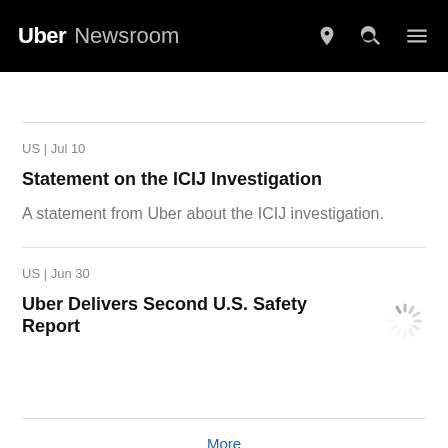Uber Newsroom
US | Jul 10
Statement on the ICIJ Investigation
A statement from Uber about the ICIJ investigation.
US | Jun 30
Uber Delivers Second U.S. Safety Report
More